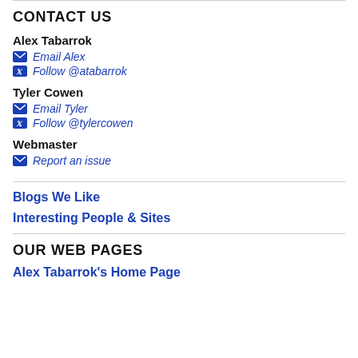CONTACT US
Alex Tabarrok
Email Alex
Follow @atabarrok
Tyler Cowen
Email Tyler
Follow @tylercowen
Webmaster
Report an issue
Blogs We Like
Interesting People & Sites
OUR WEB PAGES
Alex Tabarrok's Home Page